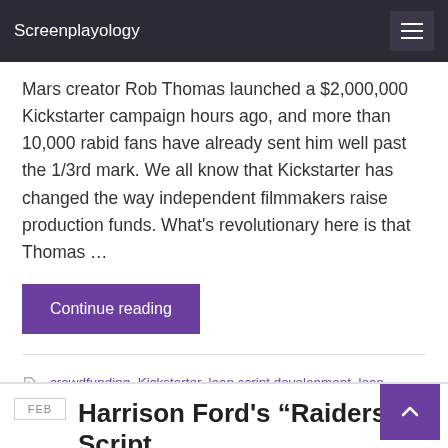Screenplayology
Mars creator Rob Thomas launched a $2,000,000 Kickstarter campaign hours ago, and more than 10,000 rabid fans have already sent him well past the 1/3rd mark. We all know that Kickstarter has changed the way independent filmmakers raise production funds. What’s revolutionary here is that Thomas …
Continue reading
crowdfunding, Kickstarter, lean script development, lean startup, Rob Thomas, Veronica Mars, Warner Brothers
1 comment
Harrison Ford’s “Raiders” Script